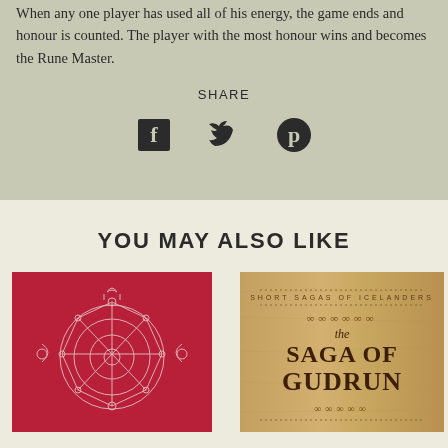When any one player has used all of his energy, the game ends and honour is counted. The player with the most honour wins and becomes the Rune Master.
SHARE
[Figure (infographic): Social share icons: Facebook (f), Twitter (bird), Pinterest (p) in dark color on grey-green background]
YOU MAY ALSO LIKE
[Figure (illustration): Red book cover with white line art illustration of a symbolic/fantasy circular diagram]
[Figure (illustration): Book cover for 'The Saga of Gudrun' from Short Sagas of Icelanders series, wooden/tan background with decorative medieval lettering and knotwork decoration]